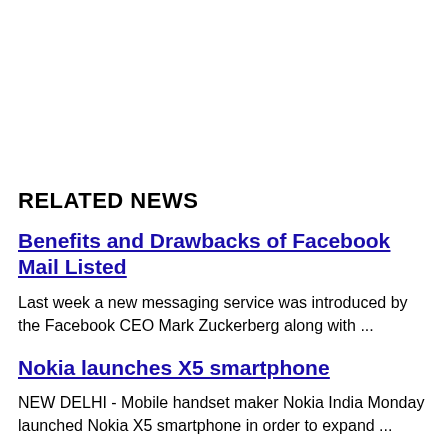RELATED NEWS
Benefits and Drawbacks of Facebook Mail Listed
Last week a new messaging service was introduced by the Facebook CEO Mark Zuckerberg along with ...
Nokia launches X5 smartphone
NEW DELHI - Mobile handset maker Nokia India Monday launched Nokia X5 smartphone in order to expand ...